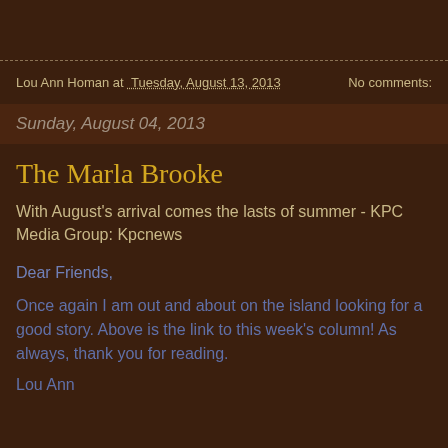Lou Ann Homan at Tuesday, August 13, 2013    No comments:
Sunday, August 04, 2013
The Marla Brooke
With August's arrival comes the lasts of summer - KPC Media Group: Kpcnews
Dear Friends,
Once again I am out and about on the island looking for a good story. Above is the link to this week's column! As always, thank you for reading.
Lou Ann